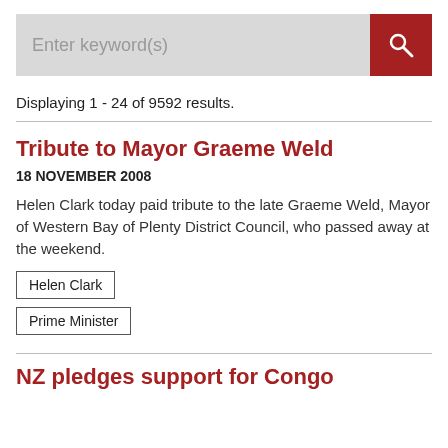[Figure (screenshot): Search bar with grey input field labeled 'Enter keyword(s)' and a red search button with magnifying glass icon]
Displaying 1 - 24 of 9592 results.
Tribute to Mayor Graeme Weld
18 NOVEMBER 2008
Helen Clark today paid tribute to the late Graeme Weld, Mayor of Western Bay of Plenty District Council, who passed away at the weekend.
Helen Clark
Prime Minister
NZ pledges support for Congo